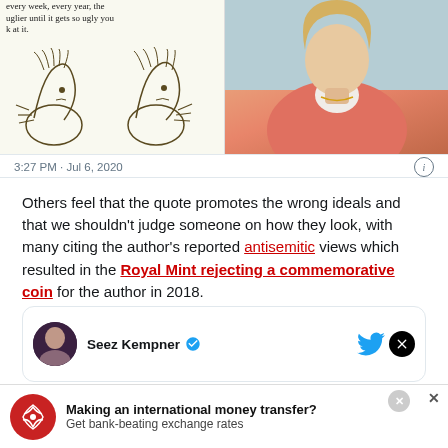[Figure (screenshot): Tweet screenshot showing partial text 'every week, every year, the uglier until it gets so ugly you k at it.' with sketch illustrations and a photo of a blonde woman in a salmon/coral sweater. Timestamp: 3:27 PM · Jul 6, 2020]
Others feel that the quote promotes the wrong ideals and that we shouldn't judge someone on how they look, with many citing the author's reported antisemitic views which resulted in the Royal Mint rejecting a commemorative coin for the author in 2018.
[Figure (screenshot): Bottom of tweet card showing avatar and name 'Seoz Kempner' with Twitter bird icon and X icon]
[Figure (screenshot): Ad banner: 'Making an international money transfer? Get bank-beating exchange rates' with red eagle logo]